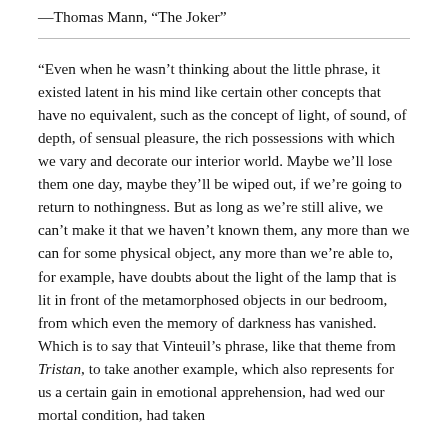—Thomas Mann, “The Joker”
“Even when he wasn’t thinking about the little phrase, it existed latent in his mind like certain other concepts that have no equivalent, such as the concept of light, of sound, of depth, of sensual pleasure, the rich possessions with which we vary and decorate our interior world. Maybe we’ll lose them one day, maybe they’ll be wiped out, if we’re going to return to nothingness. But as long as we’re still alive, we can’t make it that we haven’t known them, any more than we can for some physical object, any more than we’re able to, for example, have doubts about the light of the lamp that is lit in front of the metamorphosed objects in our bedroom, from which even the memory of darkness has vanished. Which is to say that Vinteuil’s phrase, like that theme from Tristan, to take another example, which also represents for us a certain gain in emotional apprehension, had wed our mortal condition, had taken